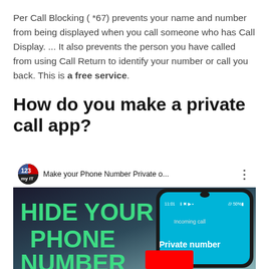Per Call Blocking ( *67) prevents your name and number from being displayed when you call someone who has Call Display. ... It also prevents the person you have called from using Call Return to identify your number or call you back. This is a free service.
How do you make a private call app?
[Figure (screenshot): YouTube video thumbnail showing 'Make your Phone Number Private o...' with a phone displaying 'Incoming call - Private number' and large green text reading 'HIDE YOUR PHONE NUMBER']